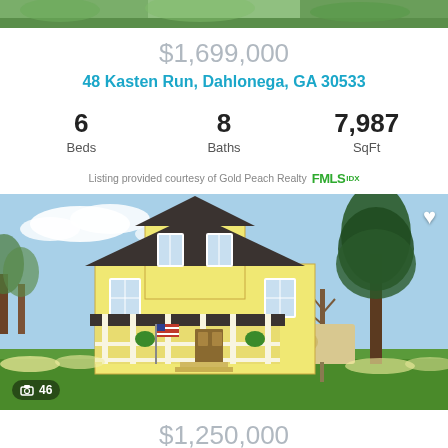[Figure (photo): Top cropped portion of a property photo strip showing greenery/landscaping]
$1,699,000
48 Kasten Run, Dahlonega, GA 30533
| 6 Beds | 8 Baths | 7,987 SqFt |
| --- | --- | --- |
Listing provided courtesy of Gold Peach Realty FMLS IDX
[Figure (photo): Yellow two-story farmhouse with dark roof, white porch with columns and railing, American flag, large trees on right, spring flowers, sign in foreground. Photo count badge showing camera icon and 46.]
$1,250,000
338 N Chestatee St, Dahlonega, GA 30533